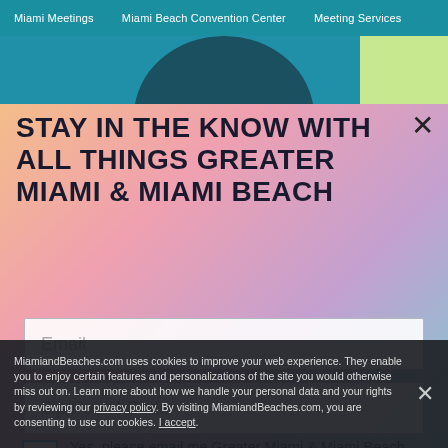Miami Meetings   Miami Beach Convention Center   Meeting Services
[Figure (photo): Partial photo of a person underwater or near water, with teal/cyan tones, behind a modal overlay]
STAY IN THE KNOW WITH ALL THINGS GREATER MIAMI & MIAMI BEACH
Email
Zip/Postal Code
Yes, please email me Greater Miami & Miami Beach trip ideas, events and deals.
MiamiandBeaches.com uses cookies to improve your web experience. They enable you to enjoy certain features and personalizations of the site you would otherwise miss out on. Learn more about how we handle your personal data and your rights by reviewing our privacy policy. By visiting MiamiandBeaches.com, you are consenting to use our cookies. I accept.